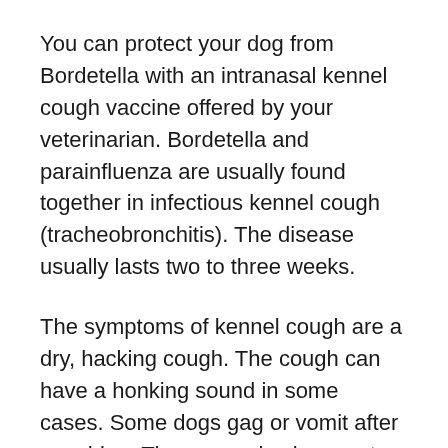You can protect your dog from Bordetella with an intranasal kennel cough vaccine offered by your veterinarian. Bordetella and parainfluenza are usually found together in infectious kennel cough (tracheobronchitis). The disease usually lasts two to three weeks.
The symptoms of kennel cough are a dry, hacking cough. The cough can have a honking sound in some cases. Some dogs gag or vomit after coughing. There can also be a watery nasal discharge. In mild cases a dog will stay active and alert. Dogs have